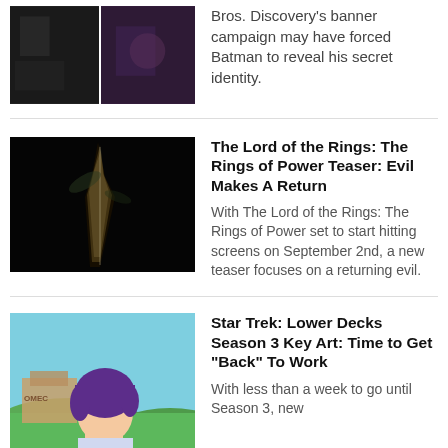[Figure (photo): Two dark film stills side by side — partial top of article]
Bros. Discovery's banner campaign may have forced Batman to reveal his secret identity.
[Figure (photo): Dark image showing a glowing crack or shard of light — Lord of the Rings teaser]
The Lord of the Rings: The Rings of Power Teaser: Evil Makes A Return
With The Lord of the Rings: The Rings of Power set to start hitting screens on September 2nd, a new teaser focuses on a returning evil.
[Figure (photo): Animated character with purple hair from Star Trek: Lower Decks, in front of a colorful background]
Star Trek: Lower Decks Season 3 Key Art: Time to Get "Back" To Work
With less than a week to go until Season 3, new